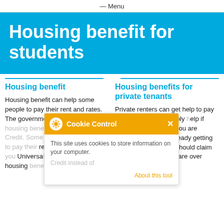— Menu
Housing benefit for students
Housing benefit
Housing benefit can help some people to pay their rent and rates. The government is replacing housing benefit with Universal Credit. Some people who need help to pay their rent for the first time should claim Universal Credit instead of housing benefit.
Housing benefits for private tenants
Private renters can get help to pay their rent. You can apply for help if you're out of work or you are working. If you are already getting help to pay rent, you should claim housing benefit if you are over pension age, and